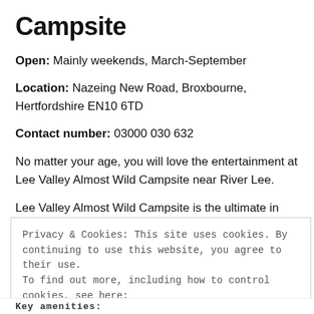Campsite
Open: Mainly weekends, March-September
Location: Nazeing New Road, Broxbourne, Hertfordshire EN10 6TD
Contact number: 03000 030 632
No matter your age, you will love the entertainment at Lee Valley Almost Wild Campsite near River Lee.
Lee Valley Almost Wild Campsite is the ultimate in nature
Privacy & Cookies: This site uses cookies. By continuing to use this website, you agree to their use.
To find out more, including how to control cookies, see here:
Cookie Policy
Close and accept
Key amenities: